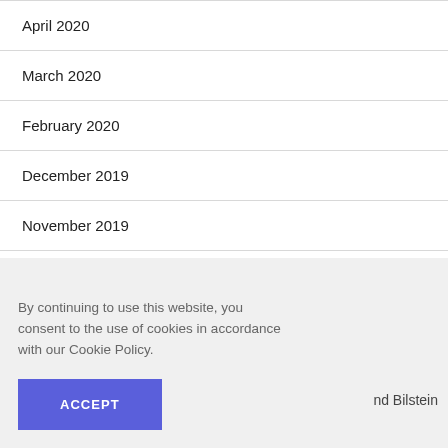April 2020
March 2020
February 2020
December 2019
November 2019
August 2019
By continuing to use this website, you consent to the use of cookies in accordance with our Cookie Policy.
ACCEPT
nd Bilstein